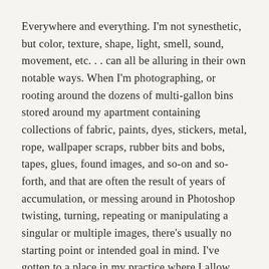Everywhere and everything. I'm not synesthetic, but color, texture, shape, light, smell, sound, movement, etc. . . can all be alluring in their own notable ways. When I'm photographing, or rooting around the dozens of multi-gallon bins stored around my apartment containing collections of fabric, paints, dyes, stickers, metal, rope, wallpaper scraps, rubber bits and bobs, tapes, glues, found images, and so-on and so-forth, and that are often the result of years of accumulation, or messing around in Photoshop twisting, turning, repeating or manipulating a singular or multiple images, there's usually no starting point or intended goal in mind. I've gotten to a place in my practice where I allow discovery to happen rather than forcing some falsified deep-meaning, or trying too much to "make art". Sometimes what is appealing is